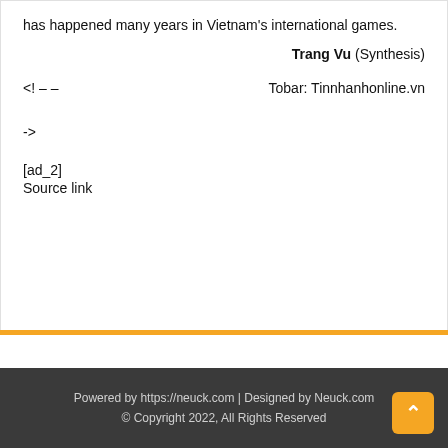has happened many years in Vietnam's international games.
Trang Vu (Synthesis)
<! – –    Tobar: Tinnhanhonline.vn
->
[ad_2]
Source link
Powered by https://neuck.com | Designed by Neuck.com
© Copyright 2022, All Rights Reserved